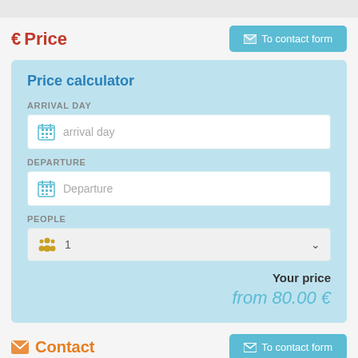€ Price
To contact form
[Figure (infographic): Price calculator form with fields: Arrival Day (calendar input), Departure (calendar input), People (dropdown showing 1), and a price result showing 'Your price from 80.00 €']
Contact
To contact form